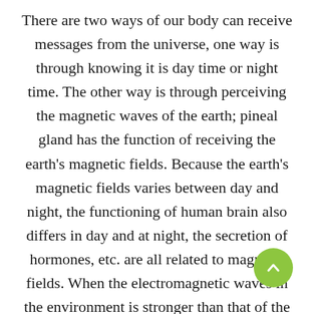There are two ways of our body can receive messages from the universe, one way is through knowing it is day time or night time. The other way is through perceiving the magnetic waves of the earth; pineal gland has the function of receiving the earth's magnetic fields. Because the earth's magnetic fields varies between day and night, the functioning of human brain also differs in day and at night, the secretion of hormones, etc. are all related to magnetic fields. When the electromagnetic waves in the environment is stronger than that of the